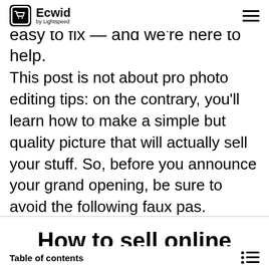Ecwid by Lightspeed
easy to fix — and we're here to help.
This post is not about pro photo editing tips: on the contrary, you'll learn how to make a simple but quality picture that will actually sell your stuff. So, before you announce your grand opening, be sure to avoid the following faux pas.
How to sell online
Table of contents